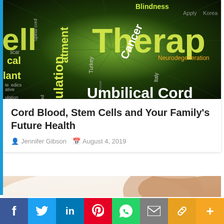[Figure (photo): A word cloud image on dark green/black background with medical/stem cell terms: Blindness, Apply, Korea, Cell Therapy, Cancer, Neurodegeneration, Adult, FDA, Trials, TreatSt, Umbilical Cord, Spinal cord, Turkey, Italy, fetal, Brain, and others in yellow, white, and orange text]
Cord Blood, Stem Cells and Your Family's Future Health
Jennifer Gibson   August 4, 2019
[Figure (photo): A photo of a pregnant woman in white clothing, shown from the shoulders/torso area with a light beige background]